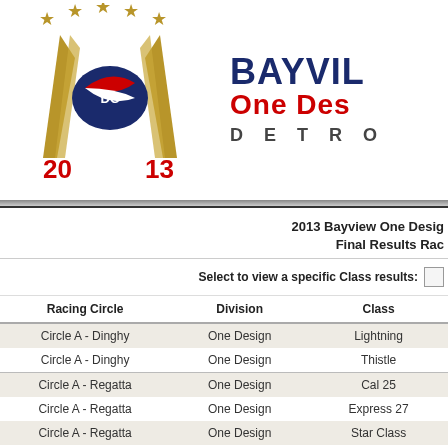[Figure (logo): Bayview One Design Detroit 2013 regatta logo with sailing emblem, gold wings/swords, stars, and red/navy pennant]
BAYVIEW ONE DESIGN DETROIT 2013
2013 Bayview One Design Final Results Racing
Select to view a specific Class results:
| Racing Circle | Division | Class |
| --- | --- | --- |
| Circle A - Dinghy | One Design | Lightning |
| Circle A - Dinghy | One Design | Thistle |
| Circle A - Regatta | One Design | Cal 25 |
| Circle A - Regatta | One Design | Express 27 |
| Circle A - Regatta | One Design | Star Class |
| Circle A - Regatta | PHRF | Catalina 27 |
| Circle B - Regatta | One Design | Beneteau First 36.7 |
| Circle B - Regatta | One Design | J 105 |